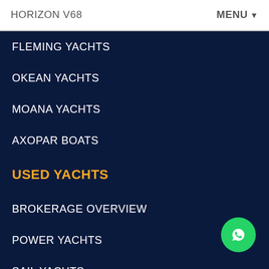HORIZON V68 | MENU
FLEMING YACHTS
OKEAN YACHTS
MOANA YACHTS
AXOPAR BOATS
USED YACHTS
BROKERAGE OVERVIEW
POWER YACHTS
SAIL YACHTS
FEATURED YACHTS
REDUCED YACHTS
SELL YOUR YACHT